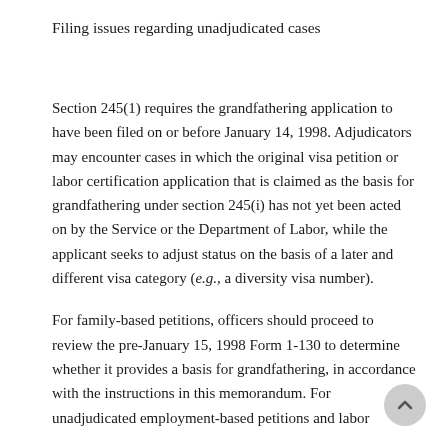Filing issues regarding unadjudicated cases
Section 245(1) requires the grandfathering application to have been filed on or before January 14, 1998. Adjudicators may encounter cases in which the original visa petition or labor certification application that is claimed as the basis for grandfathering under section 245(i) has not yet been acted on by the Service or the Department of Labor, while the applicant seeks to adjust status on the basis of a later and different visa category (e.g., a diversity visa number).
For family-based petitions, officers should proceed to review the pre-January 15, 1998 Form 1-130 to determine whether it provides a basis for grandfathering, in accordance with the instructions in this memorandum. For unadjudicated employment-based petitions and labor